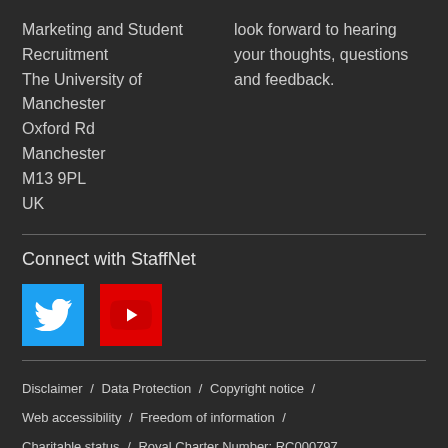Marketing and Student Recruitment
The University of Manchester
Oxford Rd
Manchester
M13 9PL
UK
look forward to hearing your thoughts, questions and feedback.
Connect with StaffNet
[Figure (logo): Twitter bird icon on blue square background]
[Figure (logo): YouTube play button icon on red square background]
Disclaimer / Data Protection / Copyright notice / Web accessibility / Freedom of information / Charitable status / Royal Charter Number: RC000797